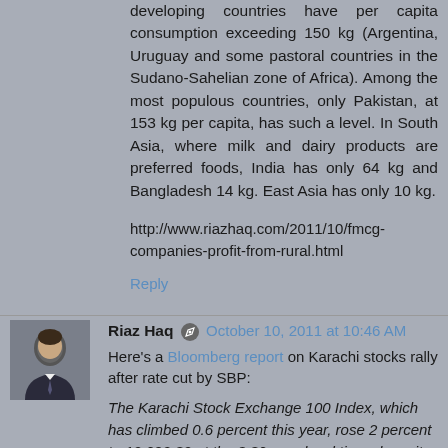developing countries have per capita consumption exceeding 150 kg (Argentina, Uruguay and some pastoral countries in the Sudano-Sahelian zone of Africa). Among the most populous countries, only Pakistan, at 153 kg per capita, has such a level. In South Asia, where milk and dairy products are preferred foods, India has only 64 kg and Bangladesh 14 kg. East Asia has only 10 kg.
http://www.riazhaq.com/2011/10/fmcg-companies-profit-from-rural.html
Reply
Riaz Haq October 10, 2011 at 10:46 AM
Here's a Bloomberg report on Karachi stocks rally after rate cut by SBP:
The Karachi Stock Exchange 100 Index, which has climbed 0.6 percent this year, rose 2 percent to 12,092.32 at the 3:30 p.m. local time close, its highest since Aug. 2. Oil & Gas Development Co., the biggest fuel explorer, rose 3.7